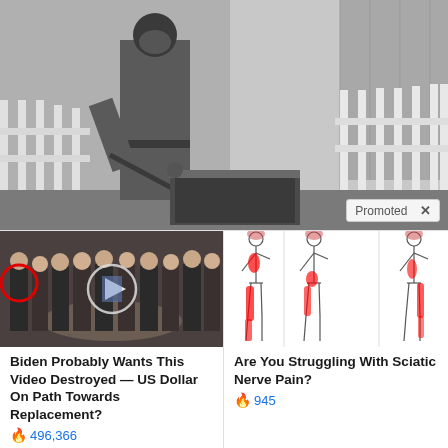[Figure (photo): Black and white historical photograph of a person in a long coat and gas mask operating some kind of spraying or pumping equipment near a white picket fence]
Promoted ×
[Figure (photo): Thumbnail image of a group of men in suits standing in a lobby with CIA seal on the floor, with play button overlay and a red circle highlighting one person]
Biden Probably Wants This Video Destroyed — US Dollar On Path Towards Replacement?
496,366
[Figure (illustration): Medical illustration showing three side-view human body silhouettes with red highlighted areas indicating sciatic nerve pain pathways running from lower back down through legs]
Are You Struggling With Sciatic Nerve Pain?
945